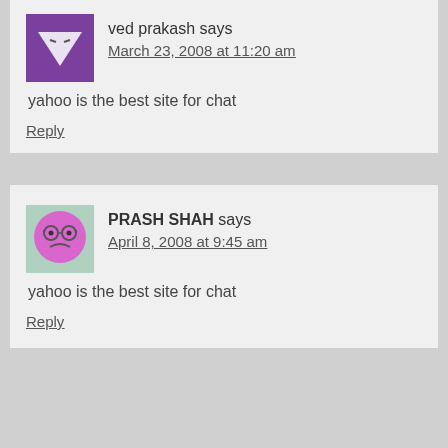ved prakash says
March 23, 2008 at 11:20 am
yahoo is the best site for chat
Reply
PRASH SHAH says
April 8, 2008 at 9:45 am
yahoo is the best site for chat
Reply